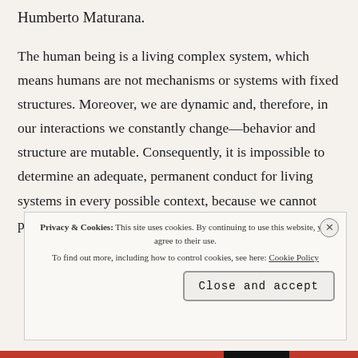Humberto Maturana.
The human being is a living complex system, which means humans are not mechanisms or systems with fixed structures. Moreover, we are dynamic and, therefore, in our interactions we constantly change—behavior and structure are mutable. Consequently, it is impossible to determine an adequate, permanent conduct for living systems in every possible context, because we cannot predict variations.
Privacy & Cookies: This site uses cookies. By continuing to use this website, you agree to their use. To find out more, including how to control cookies, see here: Cookie Policy
Close and accept